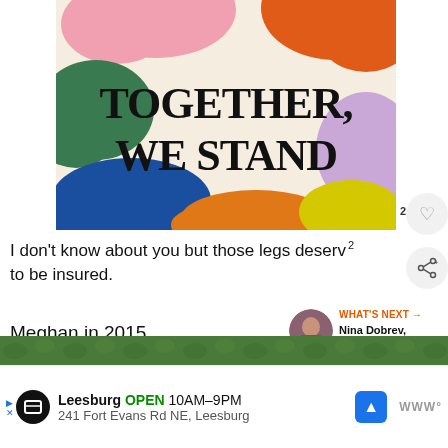[Figure (illustration): Colorful abstract poster with blob shapes in pink, orange, green, blue, purple, and yellow on a cream background, with bold serif text reading 'TOGETHER, WE STAND']
I don't know about you but those legs deserve to be insured.
Meghan in 2015
[Figure (screenshot): A 'What's Next' panel showing a circular avatar photo of Nina Dobrev with label 'WHAT'S NEXT → Nina Dobrev, Before and...']
[Figure (screenshot): Ad bar showing Leesburg store listing: OPEN 10AM–9PM, 241 Fort Evans Rd NE, Leesburg with navigation icons]
[Figure (photo): Bottom strip showing a green outdoor scene]